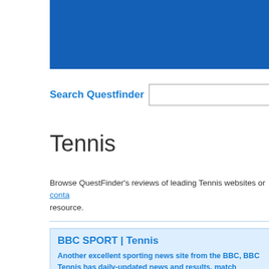[Figure (other): Blue banner/header area at top right of page]
Search Questfinder
Tennis
Browse QuestFinder's reviews of leading Tennis websites or contact resource.
BBC SPORT | Tennis
Another excellent sporting news site from the BBC, BBC Tennis has daily-updated news and results, match schedules, features & analysis. Major matches are covered live, with scores updated as they happen. The main other appeal of this site is the depth of commentary and analysis of the top players and matches.
LTA O
LTA Online... Tennis A game of features dedicate the game develop